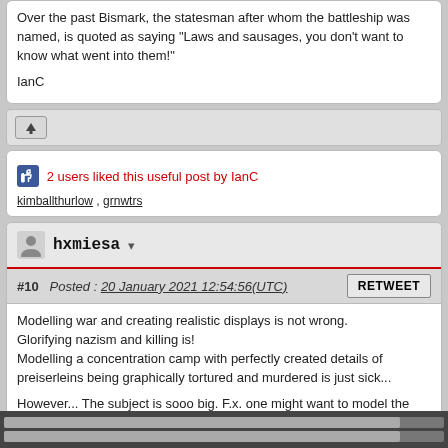Over the past Bismark, the statesman after whom the battleship was named, is quoted as saying "Laws and sausages, you don't want to know what went into them!"
IanC
2 users liked this useful post by IanC
kimballthurlow , grnwtrs
hxmiesa
#10  Posted : 20 January 2021 12:54:56(UTC)
Modelling war and creating realistic displays is not wrong. Glorifying nazism and killing is!
Modelling a concentration camp with perfectly created details of preiserleins being graphically tortured and murdered is just sick...

However... The subject is sooo big. F.x. one might want to model the POW camp from the TV-series Hogans Heroes. I dont think anybody would think badly of that.